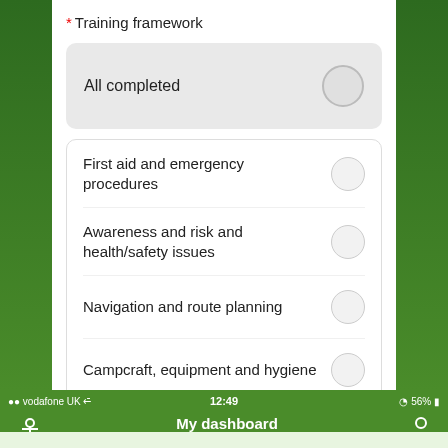* Training framework
All completed
First aid and emergency procedures
Awareness and risk and health/safety issues
Navigation and route planning
Campcraft, equipment and hygiene
Food and cooking
vodafone UK  12:49  56%  My dashboard  GOLD